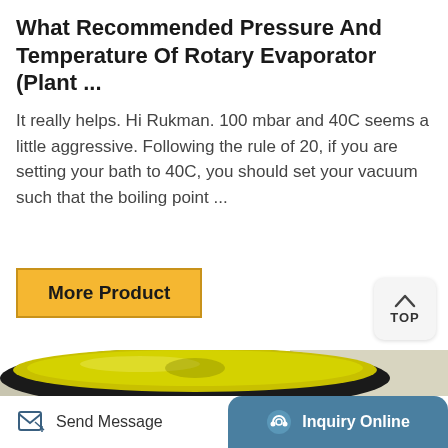What Recommended Pressure And Temperature Of Rotary Evaporator (Plant ...
It really helps. Hi Rukman. 100 mbar and 40C seems a little aggressive. Following the rule of 20, if you are setting your bath to 40C, you should set your vacuum such that the boiling point ...
More Product
[Figure (photo): Close-up photo of a rotary evaporator showing a yellow-green glass flask with a black rubber seal/gasket rim, with glass tubing visible below]
Send Message   Inquiry Online